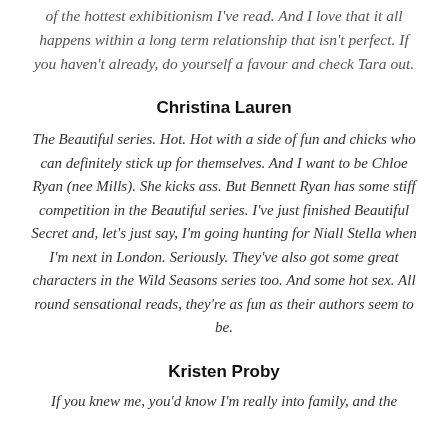of the hottest exhibitionism I've read. And I love that it all happens within a long term relationship that isn't perfect. If you haven't already, do yourself a favour and check Tara out.
Christina Lauren
The Beautiful series. Hot. Hot with a side of fun and chicks who can definitely stick up for themselves. And I want to be Chloe Ryan (nee Mills). She kicks ass. But Bennett Ryan has some stiff competition in the Beautiful series. I've just finished Beautiful Secret and, let's just say, I'm going hunting for Niall Stella when I'm next in London. Seriously. They've also got some great characters in the Wild Seasons series too. And some hot sex. All round sensational reads, they're as fun as their authors seem to be.
Kristen Proby
If you knew me, you'd know I'm really into family, and the